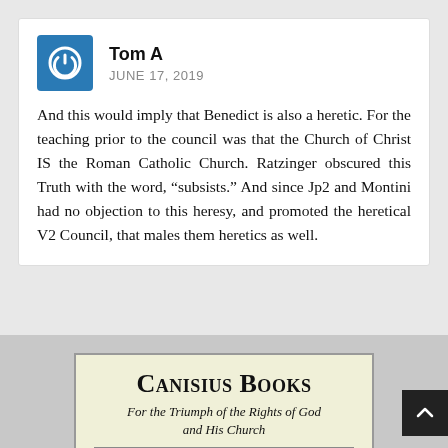Tom A
JUNE 17, 2019
And this would imply that Benedict is also a heretic. For the teaching prior to the council was that the Church of Christ IS the Roman Catholic Church. Ratzinger obscured this Truth with the word, “subsists.” And since Jp2 and Montini had no objection to this heresy, and promoted the heretical V2 Council, that males them heretics as well.
[Figure (logo): Canisius Books advertisement with tagline 'For the Triumph of the Rights of God and His Church' and book title 'World Youth Day, From Catholicism to Counterchurch']